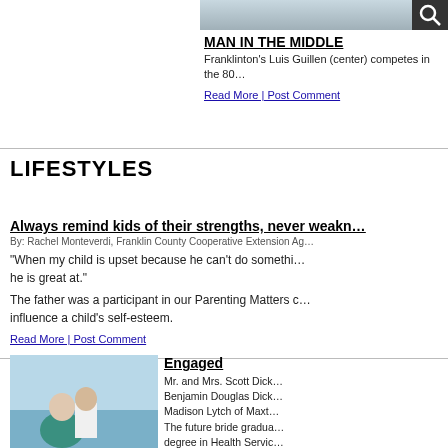[Figure (photo): Cropped top portion of a sports/action photo with pink visible at top]
MAN IN THE MIDDLE
Franklinton's Luis Guillen (center) competes in the 80…
Read More | Post Comment
LIFESTYLES
Always remind kids of their strengths, never weaknesses
By: Rachel Monteverdi, Franklin County Cooperative Extension Ag…
“When my child is upset because he can’t do something… he is great at.”
The father was a participant in our Parenting Matters c… influence a child’s self-esteem.
Read More | Post Comment
[Figure (photo): Engaged couple standing outdoors near a marina, woman in teal dress, man in white shirt]
Engaged
Mr. and Mrs. Scott Dick… Benjamin Douglas Dick… Madison Lytch of Maxt… The future bride gradua… degree in Health Servic… Century Care of Laurinb…
Read More | Post Comm…